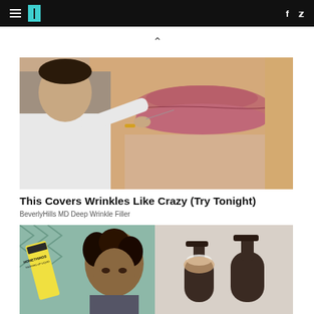HuffPost navigation with hamburger menu, logo, facebook and twitter icons
[Figure (photo): Doctor or aesthetician using a needle near a woman's lips, close-up facial photo]
This Covers Wrinkles Like Crazy (Try Tonight)
BeverlyHills MD Deep Wrinkle Filler
[Figure (photo): Left: Homethings washing-up liquid refill product with a woman with curly hair; Right: Two dark pump bottles with foam]